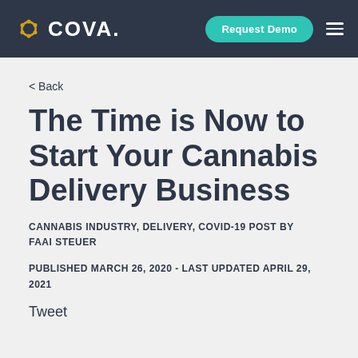COVA | Request Demo
< Back
The Time is Now to Start Your Cannabis Delivery Business
CANNABIS INDUSTRY, DELIVERY, COVID-19 POST BY FAAI STEUER
PUBLISHED MARCH 26, 2020 - LAST UPDATED APRIL 29, 2021
Tweet